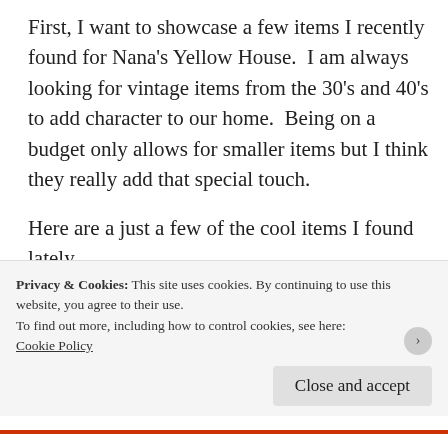First, I want to showcase a few items I recently found for Nana's Yellow House.  I am always looking for vintage items from the 30's and 40's to add character to our home.  Being on a budget only allows for smaller items but I think they really add that special touch.
Here are a just a few of the cool items I found lately.....
[Figure (photo): Three side-by-side photos of vintage items including what appears to be a decorative plate or wheel, and metallic kitchen canisters or containers]
Privacy & Cookies: This site uses cookies. By continuing to use this website, you agree to their use.
To find out more, including how to control cookies, see here:
Cookie Policy
Close and accept